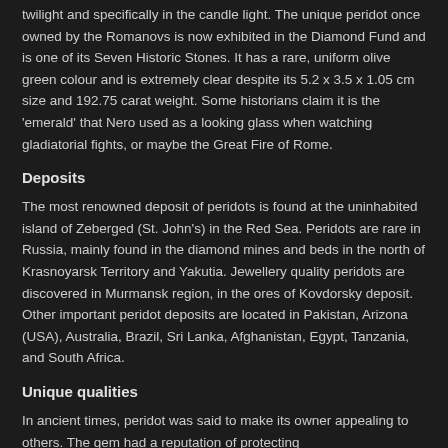twilight and specifically in the candle light. The unique peridot once owned by the Romanovs is now exhibited in the Diamond Fund and is one of its Seven Historic Stones. It has a rare, uniform olive green colour and is extremely clear despite its 5.2 x 3.5 x 1.05 cm size and 192.75 carat weight. Some historians claim it is the 'emerald' that Nero used as a looking glass when watching gladiatorial fights, or maybe the Great Fire of Rome.
Deposits
The most renowned deposit of peridots is found at the uninhabited island of Zeberged (St. John's) in the Red Sea. Peridots are rare in Russia, mainly found in the diamond mines and beds in the north of Krasnoyarsk Territory and Yakutia. Jewellery quality peridots are discovered in Murmansk region, in the ores of Kovdorsky deposit. Other important peridot deposits are located in Pakistan, Arizona (USA), Australia, Brazil, Sri Lanka, Afghanistan, Egypt, Tanzania, and South Africa.
Unique qualities
In ancient times, peridot was said to make its owner appealing to others. The gem had a reputation of protecting